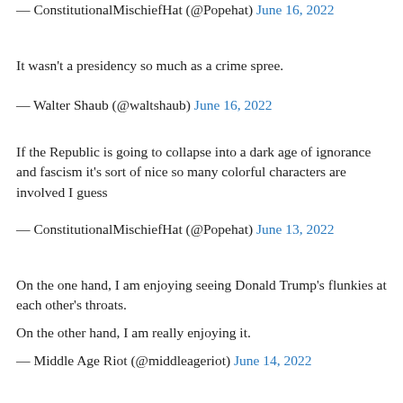— ConstitutionalMischiefHat (@Popehat) June 16, 2022
It wasn't a presidency so much as a crime spree.
— Walter Shaub (@waltshaub) June 16, 2022
If the Republic is going to collapse into a dark age of ignorance and fascism it's sort of nice so many colorful characters are involved I guess
— ConstitutionalMischiefHat (@Popehat) June 13, 2022
On the one hand, I am enjoying seeing Donald Trump's flunkies at each other's throats.

On the other hand, I am really enjoying it.
— Middle Age Riot (@middleageriot) June 14, 2022